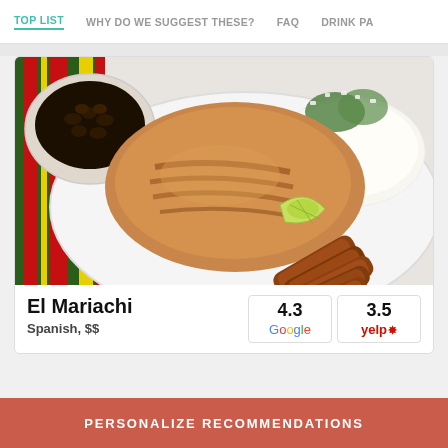TOP LIST  WHY DO WE SUGGEST THESE?  FAQ  DRINK PA
[Figure (photo): Overhead photo of a white plate with grilled chicken, white rice garnished with chopped herbs, fried sweet plantains, a lime wedge, and a side bowl of black beans, placed on a colorful striped red/green/yellow tablecloth.]
El Mariachi
Spanish, $$
4.3 Google
3.5 yelp
PERSONALIZE RECOMMENDATIONS